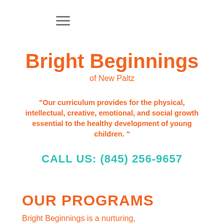≡
Bright Beginnings of New Paltz
“Our curriculum provides for the physical, intellectual, creative, emotional, and social growth essential to the healthy development of young children. ”
CALL US: (845) 256-9657
OUR PROGRAMS
Bright Beginnings is a nurturing,